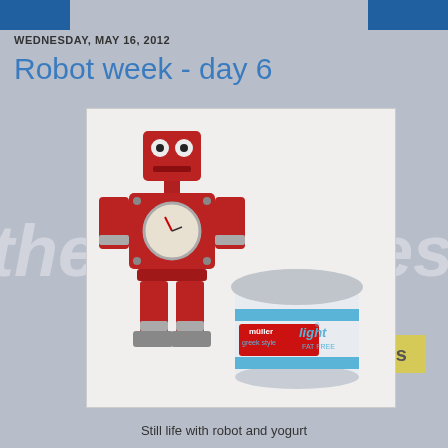WEDNESDAY, MAY 16, 2012
Robot week - day 6
[Figure (photo): A red robot toy with a clock face in its torso, standing next to a Müller Light Greek Style fat free yogurt pot on a white background.]
Still life with robot and yogurt